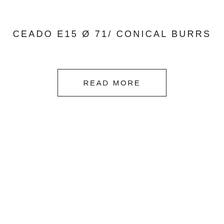CEADO E15 Ø 71/ CONICAL BURRS
READ MORE